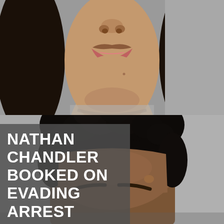[Figure (photo): Mugshot-style photo collage: top half shows lower face of a young woman (nose, lips, chin) against a gray wall background; bottom half shows the top portion of a young Black man's face (forehead, curly hair, eyebrows) against a gray wall background.]
NATHAN CHANDLER BOOKED ON EVADING ARREST DETENTION